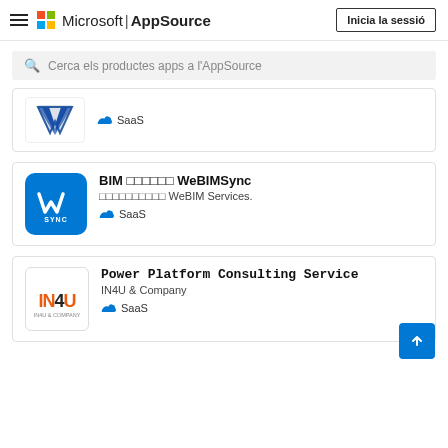Microsoft | AppSource — Inicia la sessió
Cerca els productes apps a l'AppSource
SaaS
BIM □□□□□□ WeBIMSync
□□□□□□□□□□ WeBIM Services.
SaaS
Power Platform Consulting Service
IN4U & Company
SaaS